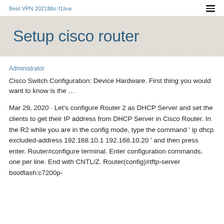Best VPN 2021Bbc f1live
Setup cisco router
Administrator
Cisco Switch Configuration: Device Hardware. First thing you would want to know is the …
Mar 29, 2020 · Let's configure Router 2 as DHCP Server and set the clients to get their IP address from DHCP Server in Cisco Router. In the R2 while you are in the config mode, type the command ' ip dhcp excluded-address 192.168.10.1 192.168.10.20 ' and then press enter. Router#configure terminal. Enter configuration commands, one per line. End with CNTL/Z. Router(config)#tftp-server bootflash:c7200p-